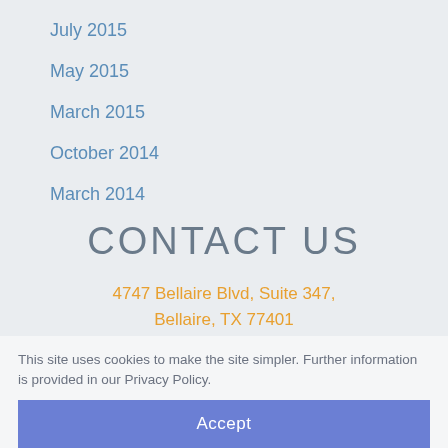July 2015
May 2015
March 2015
October 2014
March 2014
CONTACT US
4747 Bellaire Blvd, Suite 347, Bellaire, TX 77401
* Full Name
* Email
This site uses cookies to make the site simpler. Further information is provided in our Privacy Policy.
Accept